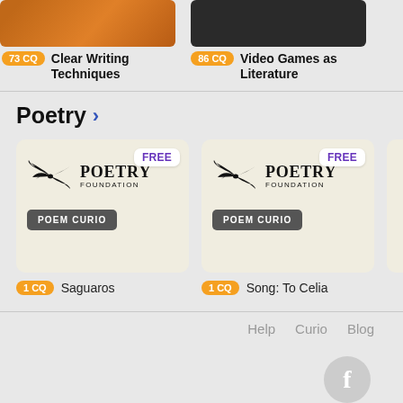[Figure (screenshot): Partial view of course cards at top: '73 CQ Clear Writing Techniques' and '86 CQ Video Games as Literature' with orange/dark thumbnails, and partial third card]
73 CQ  Clear Writing Techniques
86 CQ  Video Games as Literature
Poetry ›
[Figure (logo): Poetry Foundation logo with bird and text POETRY FOUNDATION, POEM CURIO label, FREE badge — first card (Saguaros)]
1 CQ  Saguaros
[Figure (logo): Poetry Foundation logo with bird and text POETRY FOUNDATION, POEM CURIO label, FREE badge — second card (Song: To Celia)]
1 CQ  Song: To Celia
Help  Curio  Blog